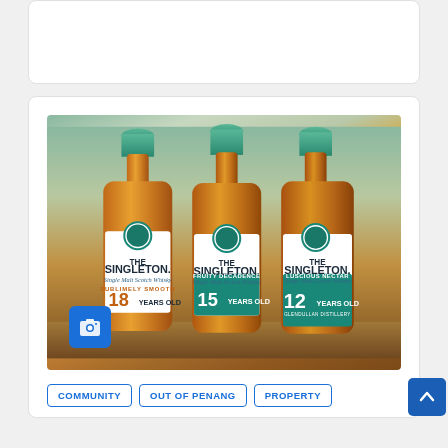[Figure (photo): Partial top card, mostly cut off at top of page]
[Figure (photo): Three bottles of The Singleton Single Malt Scotch Whisky: 18 Years Old (Sublimely Smooth), 15 Years Old (Fruity Decadence), and 12 Years Old (Luscious Nectar), displayed side by side on a wooden surface with green foliage background. A blue camera icon overlay appears in the bottom-left of the image.]
COMMUNITY
OUT OF PENANG
PROPERTY